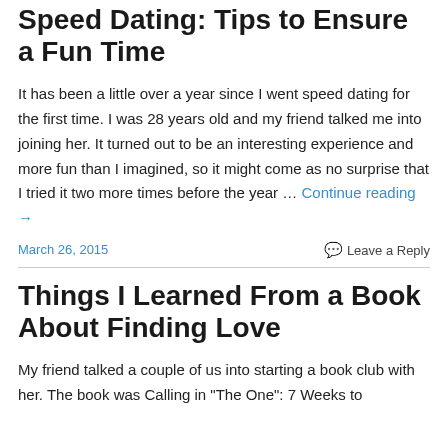Speed Dating: Tips to Ensure a Fun Time
It has been a little over a year since I went speed dating for the first time. I was 28 years old and my friend talked me into joining her. It turned out to be an interesting experience and more fun than I imagined, so it might come as no surprise that I tried it two more times before the year … Continue reading →
March 26, 2015    Leave a Reply
Things I Learned From a Book About Finding Love
My friend talked a couple of us into starting a book club with her. The book was Calling in "The One": 7 Weeks to